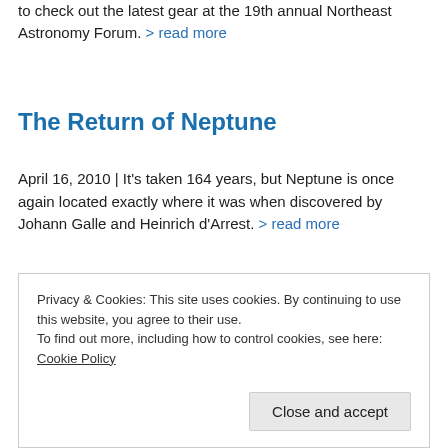to check out the latest gear at the 19th annual Northeast Astronomy Forum. > read more
The Return of Neptune
April 16, 2010 | It's taken 164 years, but Neptune is once again located exactly where it was when discovered by Johann Galle and Heinrich d'Arrest. > read more
Observing
Privacy & Cookies: This site uses cookies. By continuing to use this website, you agree to their use. To find out more, including how to control cookies, see here: Cookie Policy